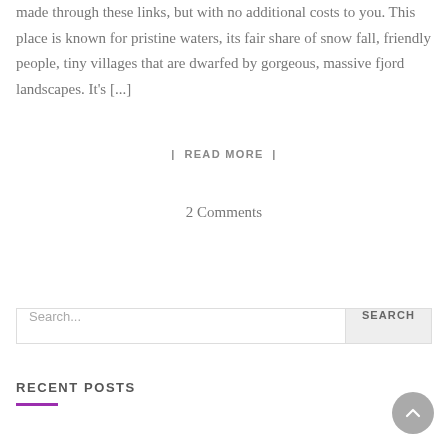made through these links, but with no additional costs to you. This place is known for pristine waters, its fair share of snow fall, friendly people, tiny villages that are dwarfed by gorgeous, massive fjord landscapes. It's [...]
| READ MORE |
2 Comments
Search...
RECENT POSTS